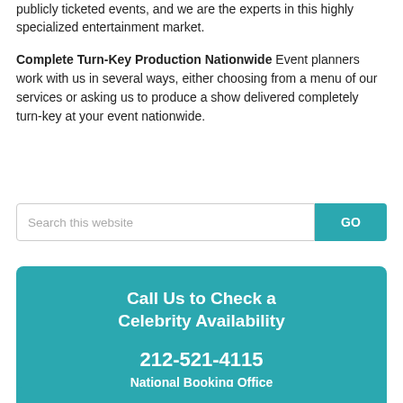publicly ticketed events, and we are the experts in this highly specialized entertainment market.
Complete Turn-Key Production Nationwide Event planners work with us in several ways, either choosing from a menu of our services or asking us to produce a show delivered completely turn-key at your event nationwide.
Search this website
Call Us to Check a Celebrity Availability
212-521-4115
National Booking Office